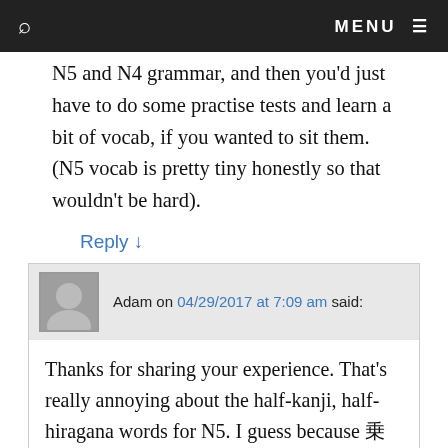MENU
N5 and N4 grammar, and then you'd just have to do some practise tests and learn a bit of vocab, if you wanted to sit them. (N5 vocab is pretty tiny honestly so that wouldn't be hard).
Reply ↓
Adam on 04/29/2017 at 7:09 am said:
Thanks for sharing your experience. That's really annoying about the half-kanji, half-hiragana words for N5. I guess because 乗 is considered a basic kanji and 降 is higher level. But most people learn 乗降 as a set, and splitting it up makes it awkward.
Maybe one day I'll make a JLPT expansion deck to the Jalup deck series, specifically for passing it